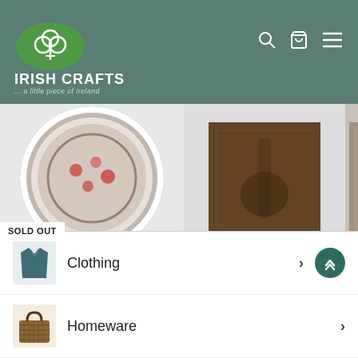[Figure (screenshot): Irish Crafts website header with teal/green background, shamrock logo, site name 'IRISH CRAFTS ... a little piece of Ireland', and search/cart/menu icons]
SOLD OUT
Bodhran - Skellig
Waltons
from €22.95
Aughavinna - JB Samzun & Charles Monod
Tunes from Doolin
€16.95
Irish W Song ...
Ceol
€19.9
Clothing
Homeware